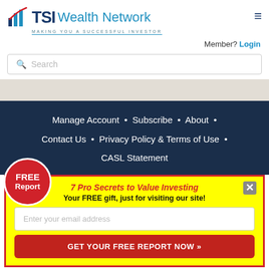[Figure (logo): TSI Wealth Network logo with bar chart icon and tagline MAKING YOU A SUCCESSFUL INVESTOR]
Member? Login
Search
Manage Account • Subscribe • About • Contact Us • Privacy Policy & Terms of Use • CASL Statement
[Figure (other): FREE Report circular red badge]
7 Pro Secrets to Value Investing
Your FREE gift, just for visiting our site!
Enter your email address
GET YOUR FREE REPORT NOW »